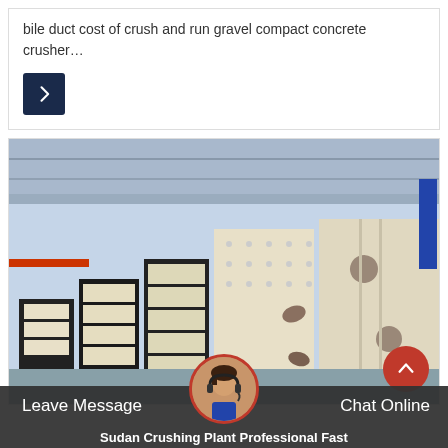bile duct cost of crush and run gravel compact concrete crusher…
[Figure (other): Arrow button / navigation icon — dark navy square with white right-pointing arrow]
[Figure (photo): Industrial factory floor showing multiple large vibrating screen crushing plant machines stacked in rows, black and white panels with orange bases, inside a large warehouse facility]
Leave Message
Chat Online
Sudan Crushing Plant Professional Fast